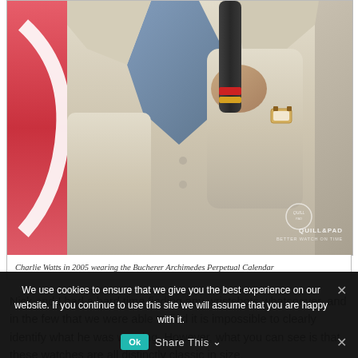[Figure (photo): Photo of Charlie Watts in 2005 wearing a beige/cream blazer, holding a microphone with red and yellow bands, with a watch visible on his wrist. Red/pink background visible on left side. Quill & Pad watermark in bottom right corner.]
Charlie Watts in 2005 wearing the Bucherer Archimedes Perpetual Calendar
Nick and I had a hard time finding any wristshots whatsoever, and in the few that we were able to find it is impossible to clearly identify what he was wearing. However, what you can see is that these watches are all distinctly classic in size,
We use cookies to ensure that we give you the best experience on our website. If you continue to use this site we will assume that you are happy with it.